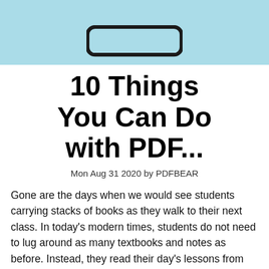[Figure (illustration): Light blue banner header with a rounded rectangle icon (representing a PDF viewer or document) centered at top]
10 Things You Can Do with PDF...
Mon Aug 31 2020 by PDFBEAR
Gone are the days when we would see students carrying stacks of books as they walk to their next class. In today's modern times, students do not need to lug around as many textbooks and notes as before. Instead, they read their day's lessons from the PDF files on their phones or laptops. Additionally, they may